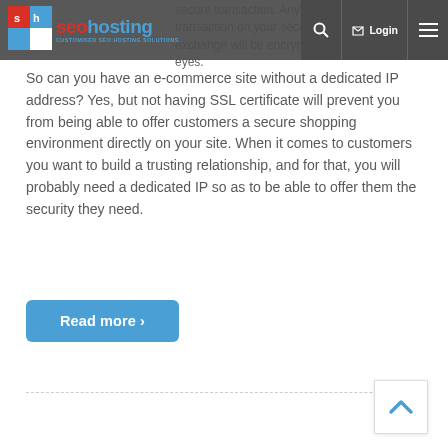seohosting — CUSTOMISED SEO HOSTING SOLUTIONS — navigation bar with logo, search, login, and menu
secure transaction. Anytime a customer initiates a transaction on your secure site, the information exchange will be encrypted and safe from prying eyes.
So can you have an e-commerce site without a dedicated IP address? Yes, but not having SSL certificate will prevent you from being able to offer customers a secure shopping environment directly on your site. When it comes to customers you want to build a trusting relationship, and for that, you will probably need a dedicated IP so as to be able to offer them the security they need.
Read more ›